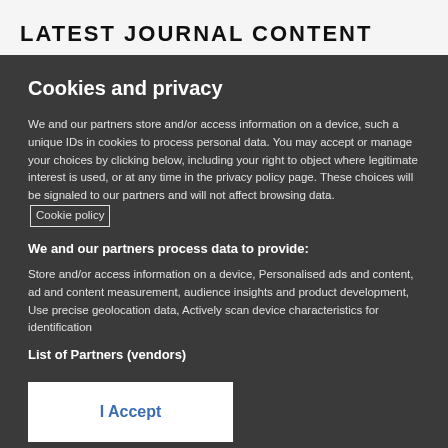LATEST JOURNAL CONTENT
Cookies and privacy
We and our partners store and/or access information on a device, such a unique IDs in cookies to process personal data. You may accept or manage your choices by clicking below, including your right to object where legitimate interest is used, or at any time in the privacy policy page. These choices will be signaled to our partners and will not affect browsing data. Cookie policy
We and our partners process data to provide:
Store and/or access information on a device, Personalised ads and content, ad and content measurement, audience insights and product development, Use precise geolocation data, Actively scan device characteristics for identification
List of Partners (vendors)
I Accept